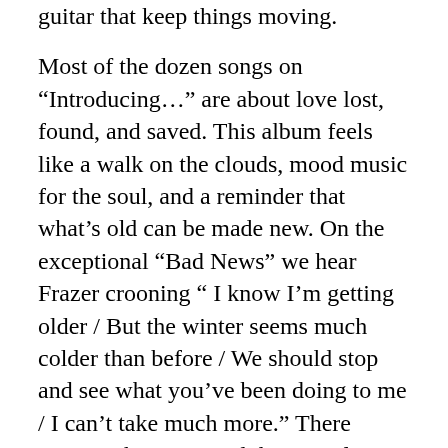guitar that keep things moving.

Most of the dozen songs on “Introducing…” are about love lost, found, and saved. This album feels like a walk on the clouds, mood music for the soul, and a reminder that what’s old can be made new. On the exceptional “Bad News” we hear Frazer crooning “ I know I’m getting older / But the winter seems much colder than before / We should stop and see what you’ve been doing to me / I can’t take much more.” There wasn’t a better record this year for me than the silky smooth debut from one of the most talented musicians playing. Drop the needle, put a log on the fire and lose yourself in the groove.